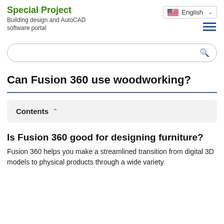Special Project – Building design and AutoCAD software portal
Can Fusion 360 use woodworking?
Is Fusion 360 good for designing furniture?
Fusion 360 helps you make a streamlined transition from digital 3D models to physical products through a wide variety